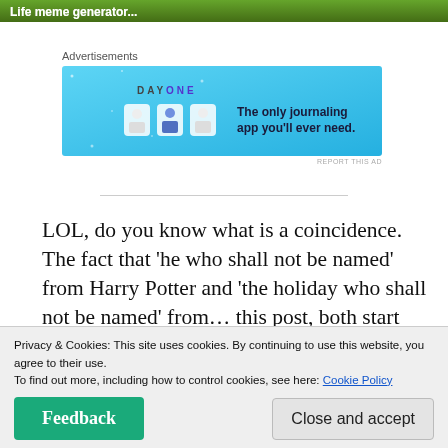[Figure (screenshot): Green banner with meme generator text at top of page]
Advertisements
[Figure (screenshot): DAY ONE - The only journaling app you'll ever need. Advertisement banner with blue background and illustrated icons.]
REPORT THIS AD
LOL, do you know what is a coincidence. The fact that ‘he who shall not be named’ from Harry Potter and ‘the holiday who shall not be named’ from… this post, both start with the letter ‘v’. Can you guess
Privacy & Cookies: This site uses cookies. By continuing to use this website, you agree to their use.
To find out more, including how to control cookies, see here: Cookie Policy
Feedback
Close and accept
is my first valentines alone after 2 or 3 years with